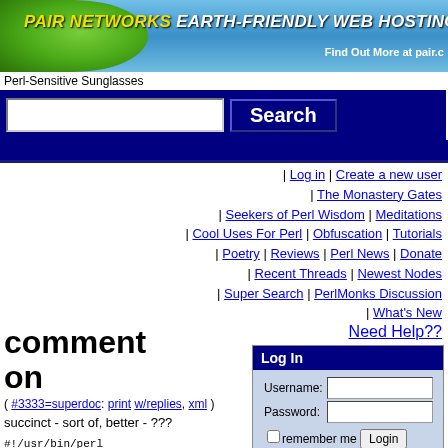[Figure (illustration): Pair Networks Earth-Friendly Web Hosting banner with green leaf and blue sky background. Yellow italic bold text reads 'PAIR NETWORKS EARTH-FRIENDLY WEB HOSTING'. White text 'Find Out More at pair.c']
Perl-Sensitive Sunglasses
[Figure (screenshot): Dark blue search bar with a white text input field and a 'Search' button]
| Log in | Create a new user | The Monastery Gates | Seekers of Perl Wisdom | Meditations | Cool Uses For Perl | Obfuscation | Tutorials | Poetry | Reviews | Perl News | Donate | Recent Threads | Newest Nodes | Super Search | PerlMonks Discussion | What's New
comment on
Need Help??
( #3333=superdoc: print w/replies, xml )
succinct - sort of, better - ???
#!/usr/bin/perl

use strict; #
https://perlmonks.org/?
node_id=11135746
use warnings;
use Data::Dump 'dd';
Log In
Username:
Password:
remember me Login
What's my password?
Create A New User